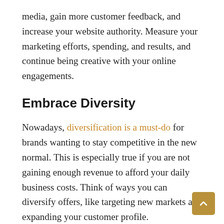media, gain more customer feedback, and increase your website authority. Measure your marketing efforts, spending, and results, and continue being creative with your online engagements.
Embrace Diversity
Nowadays, diversification is a must-do for brands wanting to stay competitive in the new normal. This is especially true if you are not gaining enough revenue to afford your daily business costs. Think of ways you can diversify offers, like targeting new markets and expanding your customer profile.
You can also consider embracing a more diverse workforce. This will help drive creativity within the organization and boost the productivity of your employees. Diversifying your